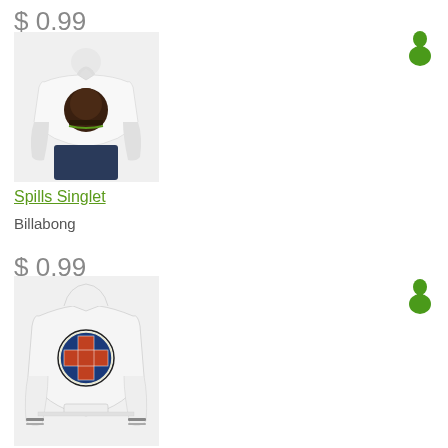$ 0.99
[Figure (photo): White mannequin torso wearing a white sleeveless singlet top with a Billabong graphic print featuring a dark circular design]
Spills Singlet
Billabong
[Figure (illustration): Green avatar/person icon for Xbox Live or similar gaming avatar service]
$ 0.99
[Figure (photo): White mannequin torso wearing a white hoodie sweatshirt with an Independent Trucks cross logo on the back]
[Figure (illustration): Green avatar/person icon for Xbox Live or similar gaming avatar service]